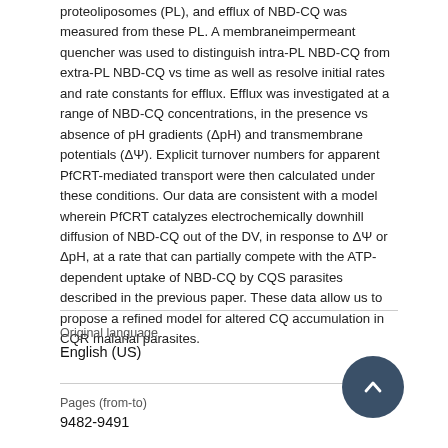proteoliposomes (PL), and efflux of NBD-CQ was measured from these PL. A membraneimpermeant quencher was used to distinguish intra-PL NBD-CQ from extra-PL NBD-CQ vs time as well as resolve initial rates and rate constants for efflux. Efflux was investigated at a range of NBD-CQ concentrations, in the presence vs absence of pH gradients (ΔpH) and transmembrane potentials (ΔΨ). Explicit turnover numbers for apparent PfCRT-mediated transport were then calculated under these conditions. Our data are consistent with a model wherein PfCRT catalyzes electrochemically downhill diffusion of NBD-CQ out of the DV, in response to ΔΨ or ΔpH, at a rate that can partially compete with the ATP-dependent uptake of NBD-CQ by CQS parasites described in the previous paper. These data allow us to propose a refined model for altered CQ accumulation in CQR malarial parasites.
| Original language | Pages (from-to) |
| --- | --- |
| English (US) | 9482-9491 |